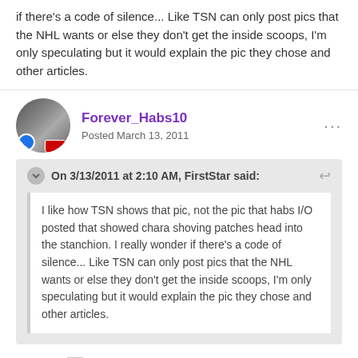if there's a code of silence... Like TSN can only post pics that the NHL wants or else they don't get the inside scoops, I'm only speculating but it would explain the pic they chose and other articles.
Forever_Habs10
Posted March 13, 2011
On 3/13/2011 at 2:10 AM, FirstStarsaid:
I like how TSN shows that pic, not the pic that habs I/O posted that showed chara shoving patches head into the stanchion. I really wonder if there's a code of silence... Like TSN can only post pics that the NHL wants or else they don't get the inside scoops, I'm only speculating but it would explain the pic they chose and other articles.
I'll post it. ;)
charabitpucksastnow.jpg